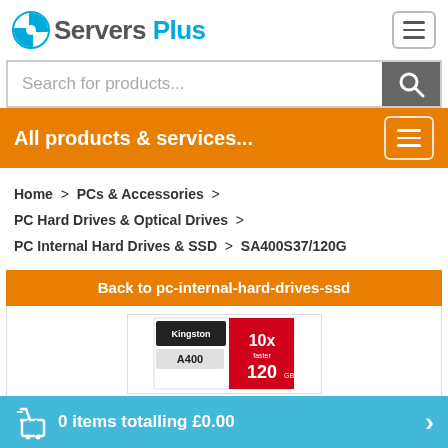[Figure (logo): Servers Plus logo with blue crosshair icon and text 'Servers' in gray and 'Plus' in blue]
Search for products...
All products & services...
Home > PCs & Accessories > PC Hard Drives & Optical Drives > PC Internal Hard Drives & SSD > SA400S37/120G
Back to pc-internal-hard-drives-ssd
[Figure (photo): Kingston A400 120GB SSD product packaging photo showing red and white Kingston packaging]
0 items totalling £0.00